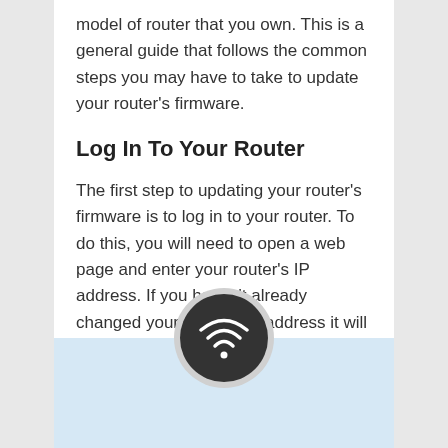model of router that you own. This is a general guide that follows the common steps you may have to take to update your router's firmware.
Log In To Your Router
The first step to updating your router's firmware is to log in to your router. To do this, you will need to open a web page and enter your router's IP address. If you haven't already changed your router's IP address it will be written in the manual.
[Figure (illustration): A WiFi symbol icon in white on a dark circular background, with a light gray outer ring, overlapping a light blue rectangular banner area at the bottom of the page.]